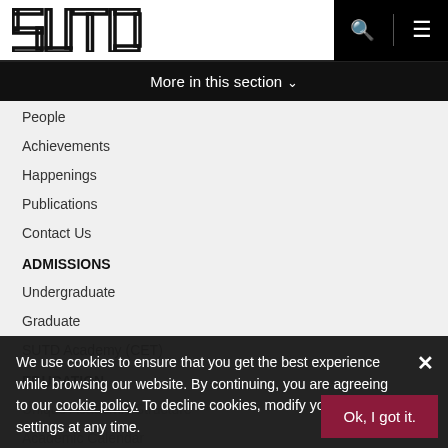SUTD
More in this section
People
Achievements
Happenings
Publications
Contact Us
ADMISSIONS
Undergraduate
Graduate
SUTD Academy (CET)
EDUCATION
Unique Academic Structure
Academic Calendar
Library
Resources
We use cookies to ensure that you get the best experience while browsing our website. By continuing, you are agreeing to our cookie policy. To decline cookies, modify your browser settings at any time.
Ok, I got it.